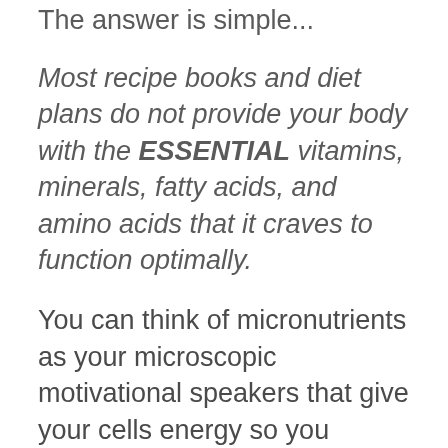The answer is simple...
Most recipe books and diet plans do not provide your body with the ESSENTIAL vitamins, minerals, fatty acids, and amino acids that it craves to function optimally.
You can think of micronutrients as your microscopic motivational speakers that give your cells energy so you